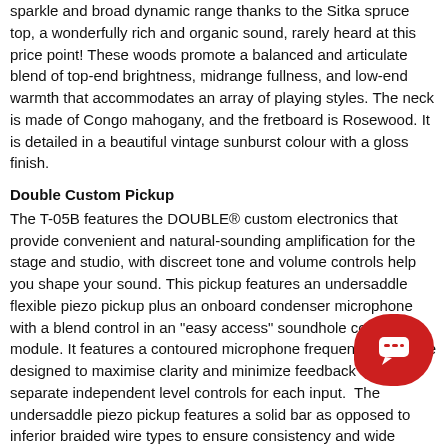sparkle and broad dynamic range thanks to the Sitka spruce top, a wonderfully rich and organic sound, rarely heard at this price point! These woods promote a balanced and articulate blend of top-end brightness, midrange fullness, and low-end warmth that accommodates an array of playing styles. The neck is made of Congo mahogany, and the fretboard is Rosewood. It is detailed in a beautiful vintage sunburst colour with a gloss finish.
Double Custom Pickup
The T-05B features the DOUBLE® custom electronics that provide convenient and natural-sounding amplification for the stage and studio, with discreet tone and volume controls help you shape your sound. This pickup features an undersaddle flexible piezo pickup plus an onboard condenser microphone with a blend control in an "easy access" soundhole control module. It features a contoured microphone frequency response designed to maximise clarity and minimize feedback with separate independent level controls for each input.  The undersaddle piezo pickup features a solid bar as opposed to inferior braided wire types to ensure consistency and wide dynamics. A phase switch is also provided.
Enya Music Group
The Enya Music Group is a global guitar & ukulele manufacturer established in 2011. Currently holding 16 invention patents and over 80